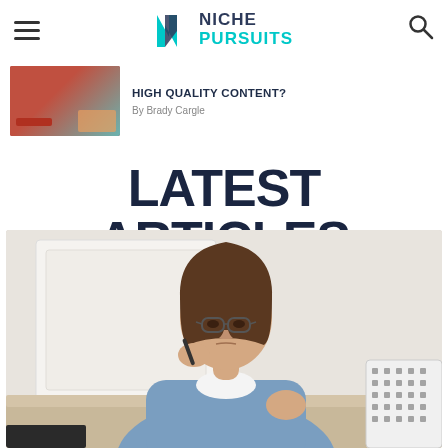Niche Pursuits — Navigation header with hamburger menu, logo, and search icon
HIGH QUALITY CONTENT?
By Brady Cargle
LATEST ARTICLES
[Figure (photo): Young woman with glasses and brown hair holding a pen to her lips, sitting at a desk, thinking. She is wearing a denim shirt over a white top. Background is a light bright interior.]